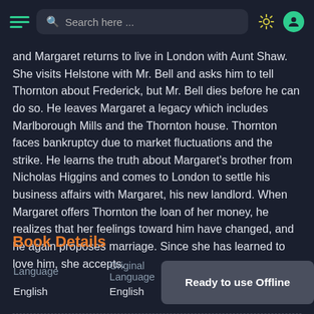Search here ...
and Margaret returns to live in London with Aunt Shaw. She visits Helstone with Mr. Bell and asks him to tell Thornton about Frederick, but Mr. Bell dies before he can do so. He leaves Margaret a legacy which includes Marlborough Mills and the Thornton house. Thornton faces bankruptcy due to market fluctuations and the strike. He learns the truth about Margaret's brother from Nicholas Higgins and comes to London to settle his business affairs with Margaret, his new landlord. When Margaret offers Thornton the loan of her money, he realizes that her feelings toward him have changed, and he again proposes marriage. Since she has learned to love him, she accepts.
Book Details
| Language | Original Language | Published In |
| --- | --- | --- |
| English | English |  |